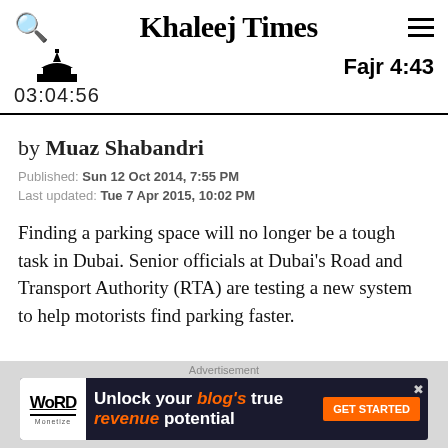Khaleej Times — Fajr 4:43 — 03:04:56
by Muaz Shabandri
Published: Sun 12 Oct 2014, 7:55 PM
Last updated: Tue 7 Apr 2015, 10:02 PM
Finding a parking space will no longer be a tough task in Dubai. Senior officials at Dubai's Road and Transport Authority (RTA) are testing a new system to help motorists find parking faster.
[Figure (other): Advertisement banner: Word Monetize — Unlock your blog's true revenue potential — GET STARTED button]